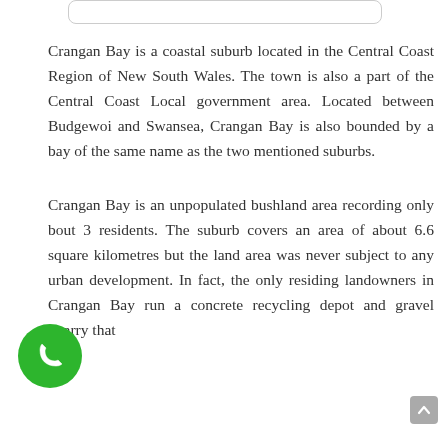[Figure (other): White rounded rectangle bar at top of page (UI element/search bar)]
Crangan Bay is a coastal suburb located in the Central Coast Region of New South Wales. The town is also a part of the Central Coast Local government area. Located between Budgewoi and Swansea, Crangan Bay is also bounded by a bay of the same name as the two mentioned suburbs.
Crangan Bay is an unpopulated bushland area recording only bout 3 residents. The suburb covers an area of about 6.6 square kilometres but the land area was never subject to any urban development. In fact, the only residing landowners in Crangan Bay run a concrete recycling depot and gravel quarry that
[Figure (illustration): Green circular phone/call button icon at bottom-left corner of page]
[Figure (other): Grey scroll-to-top button at bottom-right corner of page]